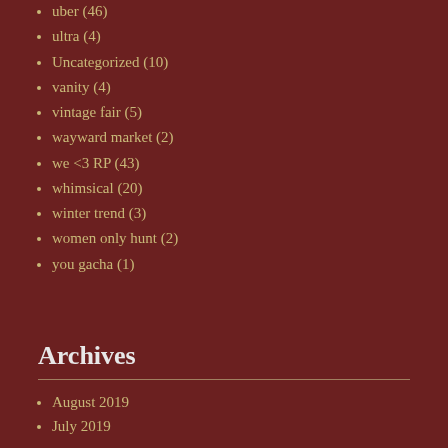uber (46)
ultra (4)
Uncategorized (10)
vanity (4)
vintage fair (5)
wayward market (2)
we <3 RP (43)
whimsical (20)
winter trend (3)
women only hunt (2)
you gacha (1)
Archives
August 2019
July 2019